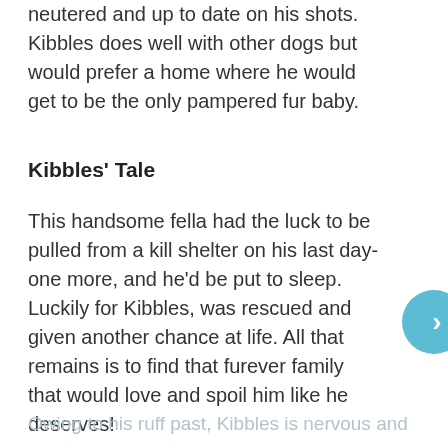neutered and up to date on his shots. Kibbles does well with other dogs but would prefer a home where he would get to be the only pampered fur baby.
Kibbles' Tale
This handsome fella had the luck to be pulled from a kill shelter on his last day- one more, and he'd be put to sleep. Luckily for Kibbles, was rescued and given another chance at life. All that remains is to find that furever family that would love and spoil him like he deserves!
Owing to his ruff past, Kibbles is nervous and